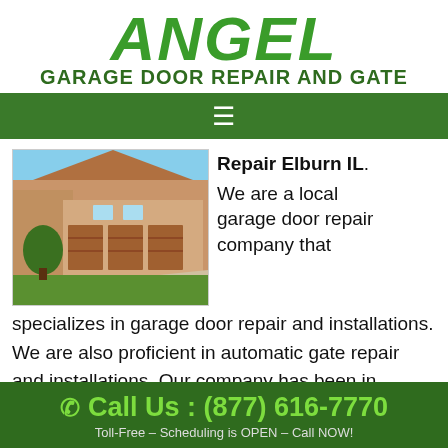ANGEL GARAGE DOOR REPAIR AND GATE
[Figure (logo): Angel Garage Door Repair and Gate logo with house and garage doors image]
Repair Elburn IL. We are a local garage door repair company that specializes in garage door repair and installations. We are also proficient in automatic gate repair and installations. Our company has been in business for over 30 years, with numerous successful
Call Us : (877) 616-7770 Toll-Free – Scheduling is OPEN – Call NOW!